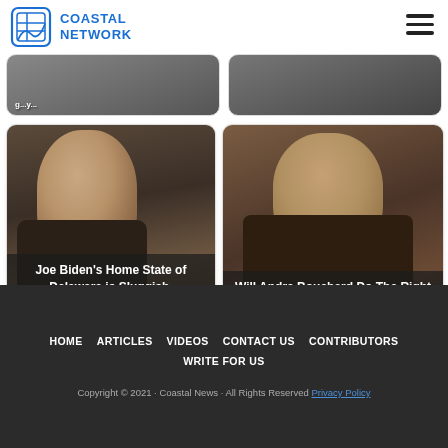COASTAL NETWORK
[Figure (screenshot): Partially visible card top row with two article thumbnails]
[Figure (photo): Joe Biden seated, looking serious, dark background]
Joe Biden's Home State of Delaware is Sluggish, Imbalanced...
[Figure (photo): Andre Bouchard looking to the side, formal attire]
Will Andre Bouchard Do The Right Thing in Opening Up Billing...
HOME | ARTICLES | VIDEOS | CONTACT US | CONTRIBUTORS | WRITE FOR US | Copyright © 2021 · Coastal News · All Rights Reserved | Privacy Policy